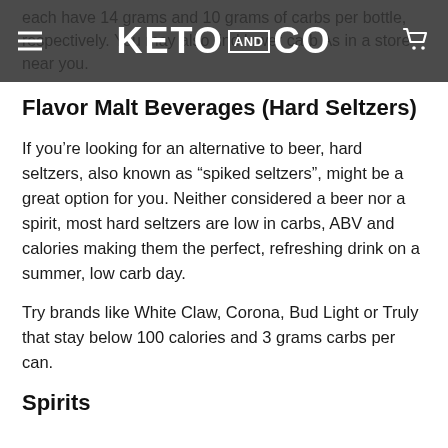each have 14 grams and 10 grams of carbs per bottle, respectively. You may also find lower carb As in a store near you.
KETO AND CO
Flavor Malt Beverages (Hard Seltzers)
If you’re looking for an alternative to beer, hard seltzers, also known as “spiked seltzers”, might be a great option for you. Neither considered a beer nor a spirit, most hard seltzers are low in carbs, ABV and calories making them the perfect, refreshing drink on a summer, low carb day.
Try brands like White Claw, Corona, Bud Light or Truly that stay below 100 calories and 3 grams carbs per can.
Spirits